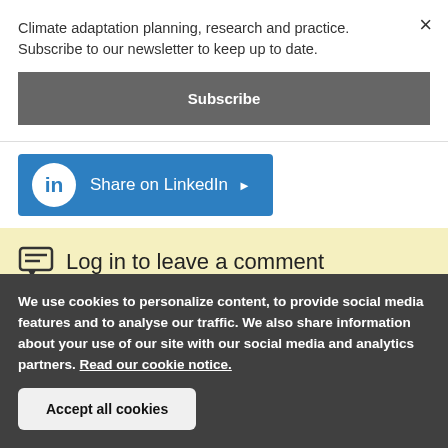Climate adaptation planning, research and practice. Subscribe to our newsletter to keep up to date.
×
Subscribe
Share on LinkedIn ▶
Log in to leave a comment
We use cookies to personalize content, to provide social media features and to analyse our traffic. We also share information about your use of our site with our social media and analytics partners. Read our cookie notice.
Accept all cookies